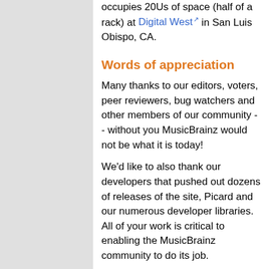occupies 20Us of space (half of a rack) at Digital West in San Luis Obispo, CA.
Words of appreciation
Many thanks to our editors, voters, peer reviewers, bug watchers and other members of our community -- without you MusicBrainz would not be what it is today!
We'd like to also thank our developers that pushed out dozens of releases of the site, Picard and our numerous developer libraries. All of your work is critical to enabling the MusicBrainz community to do its job.
We'd also like to thank our awesome Board of Directors, Brewster Kahle and the Internet Archive, all of the donors who contributed money and all of our customers. In particular we'd like to thank Google, AOL and an anonymous record label for the large donations made in 2012. These large contributions allow us to carry